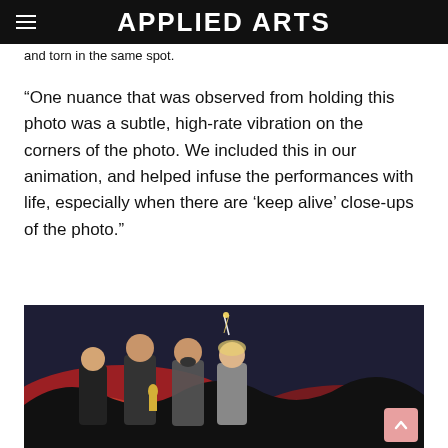APPLIED ARTS
and torn in the same spot.
“One nuance that was observed from holding this photo was a subtle, high-rate vibration on the corners of the photo. We included this in our animation, and helped infuse the performances with life, especially when there are ‘keep alive’ close-ups of the photo.”
[Figure (photo): Four people (three men and one woman) posing together in front of a dramatic red and dark background. One person is holding an Oscar statuette. The setting appears to be a film or animation awards event.]